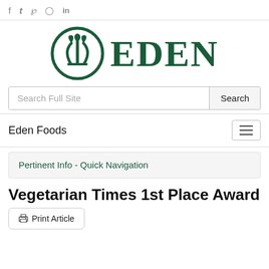f  t  p  (instagram)  in
[Figure (logo): Eden Foods logo: circular emblem with stylized plant/vase design in dark green, followed by the wordmark EDEN in large dark green serif letters]
Search Full Site  Search
Eden Foods  ☰
Pertinent Info - Quick Navigation
Vegetarian Times 1st Place Award
🖨 Print Article